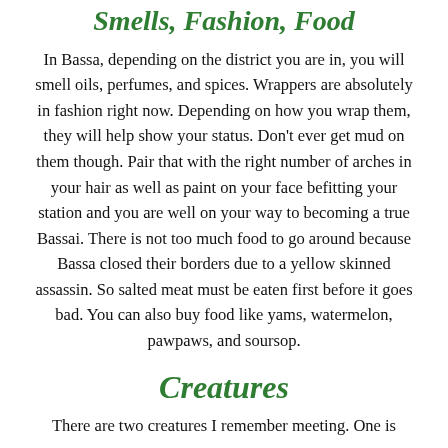Smells, Fashion, Food
In Bassa, depending on the district you are in, you will smell oils, perfumes, and spices. Wrappers are absolutely in fashion right now. Depending on how you wrap them, they will help show your status. Don't ever get mud on them though. Pair that with the right number of arches in your hair as well as paint on your face befitting your station and you are well on your way to becoming a true Bassai. There is not too much food to go around because Bassa closed their borders due to a yellow skinned assassin. So salted meat must be eaten first before it goes bad. You can also buy food like yams, watermelon, pawpaws, and soursop.
Creatures
There are two creatures I remember meeting. One is